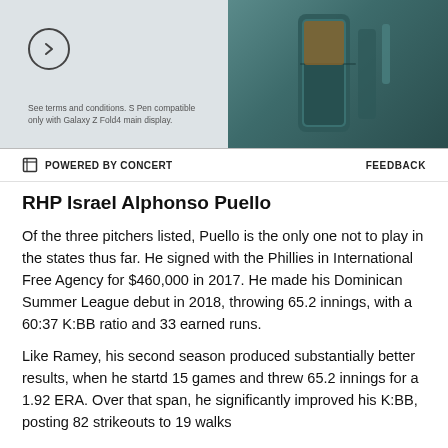[Figure (photo): Advertisement banner showing a Samsung Galaxy Z Fold4 phone with a circular arrow icon on the left and fine print at the bottom left. The right side shows a teal/dark green phone device rendering.]
POWERED BY CONCERT   FEEDBACK
RHP Israel Alphonso Puello
Of the three pitchers listed, Puello is the only one not to play in the states thus far. He signed with the Phillies in International Free Agency for $460,000 in 2017. He made his Dominican Summer League debut in 2018, throwing 65.2 innings, with a 60:37 K:BB ratio and 33 earned runs.
Like Ramey, his second season produced substantially better results, when he startd 15 games and threw 65.2 innings for a 1.92 ERA. Over that span, he significantly improved his K:BB, posting 82 strikeouts to 19 walks